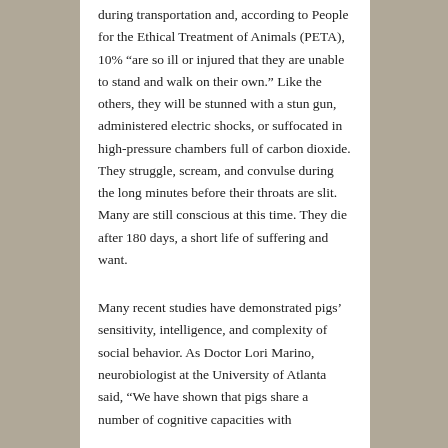during transportation and, according to People for the Ethical Treatment of Animals (PETA), 10% “are so ill or injured that they are unable to stand and walk on their own.” Like the others, they will be stunned with a stun gun, administered electric shocks, or suffocated in high-pressure chambers full of carbon dioxide. They struggle, scream, and convulse during the long minutes before their throats are slit. Many are still conscious at this time. They die after 180 days, a short life of suffering and want.
Many recent studies have demonstrated pigs’ sensitivity, intelligence, and complexity of social behavior. As Doctor Lori Marino, neurobiologist at the University of Atlanta said, “We have shown that pigs share a number of cognitive capacities with